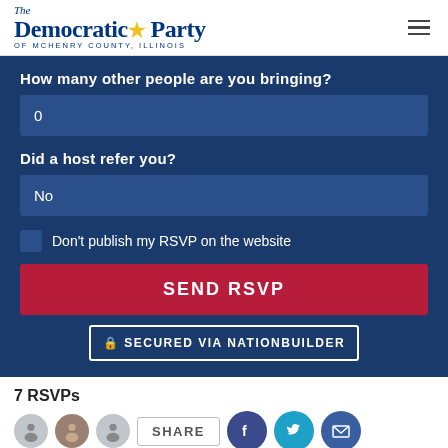The Democratic Party of McHenry County, Illinois
How many other people are you bringing?
0
Did a host refer you?
No
Don't publish my RSVP on the website
SEND RSVP
SECURED VIA NATIONBUILDER
7 RSVPs
SHARE